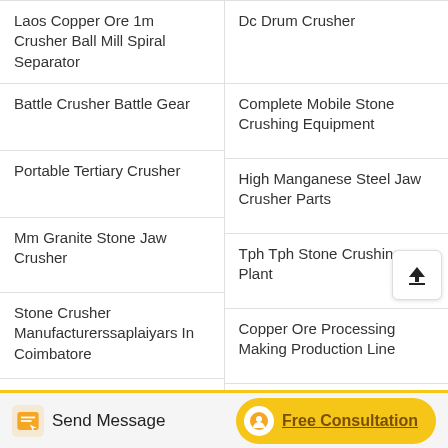Laos Copper Ore 1m Crusher Ball Mill Spiral Separator
Battle Crusher Battle Gear
Portable Tertiary Crusher
Mm Granite Stone Jaw Crusher
Stone Crusher Manufacturerssaplaiyars In Coimbatore
Kernel Crushing Plant
Dc Drum Crusher
Complete Mobile Stone Crushing Equipment
High Manganese Steel Jaw Crusher Parts
Tph Tph Stone Crushing Plant
Copper Ore Processing Making Production Line
Jaw Crusher Technical Drawing
Send Message   Free Consultation